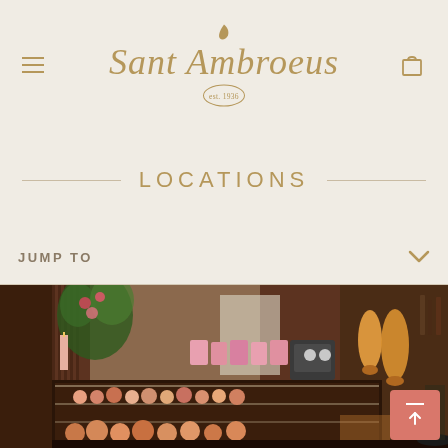Sant Ambroeus est. 1936
LOCATIONS
JUMP TO
[Figure (photo): Interior of Sant Ambroeus restaurant/cafe showing a glass display case filled with pastries and baked goods, a floral arrangement, pink product packages, espresso machine, bar area with bottles, and warm wood paneling with ambient lighting.]